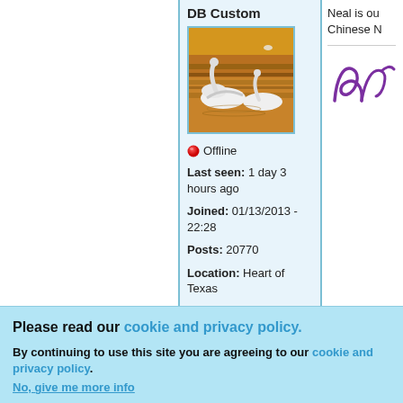DB Custom
[Figure (photo): Avatar image showing white swans or birds on water with brown/golden background]
🔴 Offline
Last seen: 1 day 3 hours ago
Joined: 01/13/2013 - 22:28
Posts: 20770
Location: Heart of Texas
Neal is ou
Chinese N
[Figure (illustration): Purple cursive signature reading 'Dal']
Please read our cookie and privacy policy.
By continuing to use this site you are agreeing to our cookie and privacy policy. No, give me more info
OK, I agree